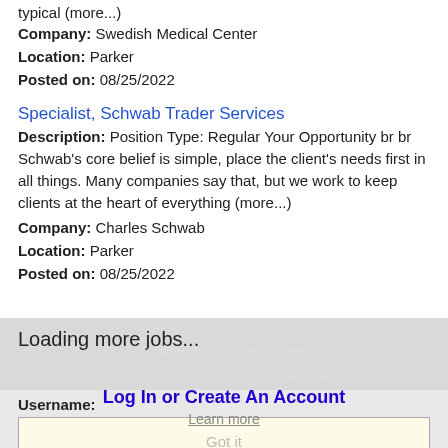typical (more...)
Company: Swedish Medical Center
Location: Parker
Posted on: 08/25/2022
Specialist, Schwab Trader Services
Description: Position Type: Regular Your Opportunity br br Schwab's core belief is simple, place the client's needs first in all things. Many companies say that, but we work to keep clients at the heart of everything (more...)
Company: Charles Schwab
Location: Parker
Posted on: 08/25/2022
Loading more jobs...
cookies to ensure you get the best experience on our website.
Log In or Create An Account
Learn more
Username:
Got it
Password: